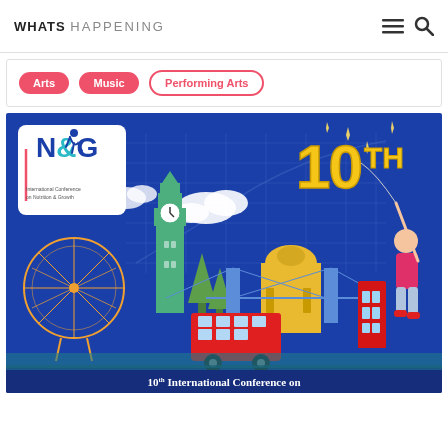WHATS HAPPENING
Arts
Music
Performing Arts
[Figure (illustration): 10th International Conference on Nutrition & Growth promotional banner featuring London skyline (Big Ben, London Eye, Tower Bridge, St. Paul's Cathedral, red double-decker bus, red phone box), a child releasing gold '10th' balloons, fireworks, growth chart background, and N&G conference logo in white box top-left. Bottom text reads '10th International Conference on']